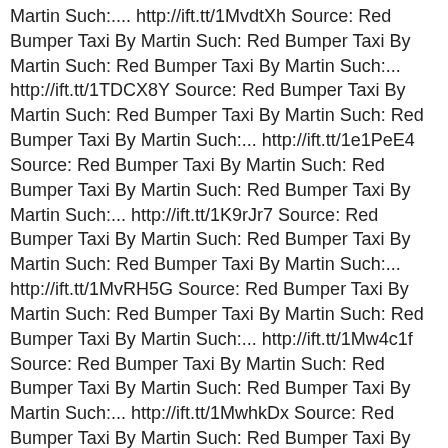Martin Such:.... http://ift.tt/1MvdtXh Source: Red Bumper Taxi By Martin Such: Red Bumper Taxi By Martin Such: Red Bumper Taxi By Martin Such:... http://ift.tt/1TDCX8Y Source: Red Bumper Taxi By Martin Such: Red Bumper Taxi By Martin Such: Red Bumper Taxi By Martin Such:... http://ift.tt/1e1PeE4 Source: Red Bumper Taxi By Martin Such: Red Bumper Taxi By Martin Such: Red Bumper Taxi By Martin Such:... http://ift.tt/1K9rJr7 Source: Red Bumper Taxi By Martin Such: Red Bumper Taxi By Martin Such: Red Bumper Taxi By Martin Such:... http://ift.tt/1MvRH5G Source: Red Bumper Taxi By Martin Such: Red Bumper Taxi By Martin Such: Red Bumper Taxi By Martin Such:... http://ift.tt/1Mw4c1f Source: Red Bumper Taxi By Martin Such: Red Bumper Taxi By Martin Such: Red Bumper Taxi By Martin Such:... http://ift.tt/1MwhkDx Source: Red Bumper Taxi By Martin Such: Red Bumper Taxi By Martin Such: Red Bumper Taxi By Martin Such:... http://ift.tt/1f7NYAh Source: Red Bumper Taxi By Martin Such: Red Bumper Taxi By Martin Such: Red Bumper Taxi By Martin Such:... http://ift.tt/1fMQuwR Source: Red Bumper Taxi By Martin Such: Red Bumper Taxi By Martin Such: Red Bumper Taxi By Martin Such:... http://ift.tt/1KbhjoB Source: Red Bumper